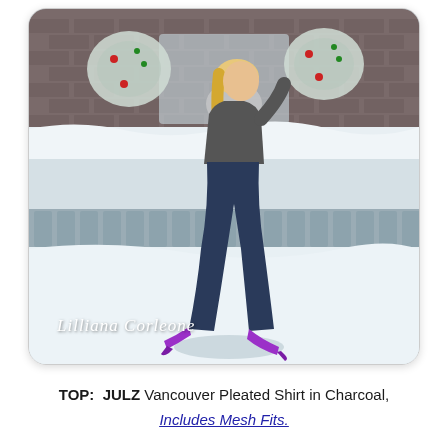[Figure (photo): A 3D animated/virtual world character — a blonde woman wearing a charcoal grey pleated shirt/sweater, dark blue skinny jeans, and bright purple high heel stilettos. She is posed dynamically in front of a snowy winter outdoor scene with a brick wall and white Christmas wreaths with red and green ornaments. Snow covers the ground. The watermark 'Lilliana Corleone' appears in white italic script at the bottom left of the photo.]
TOP:  JULZ Vancouver Pleated Shirt in Charcoal,
Includes Mesh Fits.